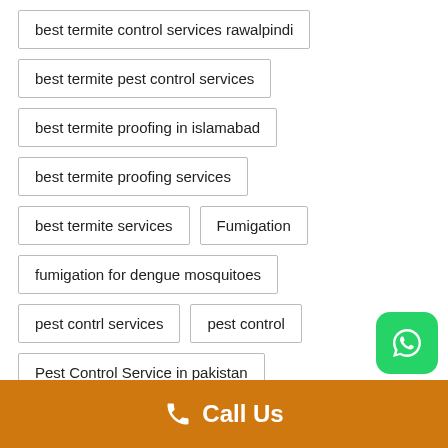best termite control services rawalpindi
best termite pest control services
best termite proofing in islamabad
best termite proofing services
best termite services
Fumigation
fumigation for dengue mosquitoes
pest contrl services
pest control
Pest Control Service in pakistan
Pest Control Services
Call Us